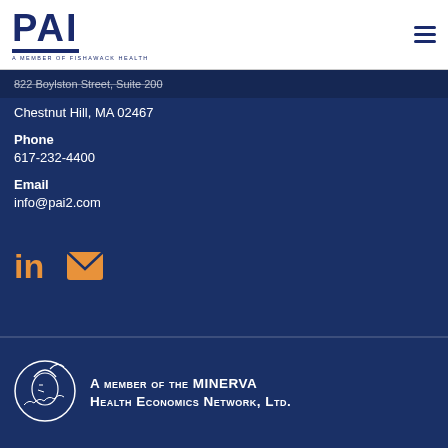[Figure (logo): PAI logo with 'A Member of Fishawack Health' tagline in navy blue]
822 Boylston Street, Suite 200
Chestnut Hill, MA 02467
Phone
617-232-4400
Email
info@pai2.com
[Figure (logo): LinkedIn icon in orange]
[Figure (logo): Email envelope icon in orange]
A member of the MINERVA Health Economics Network, Ltd.